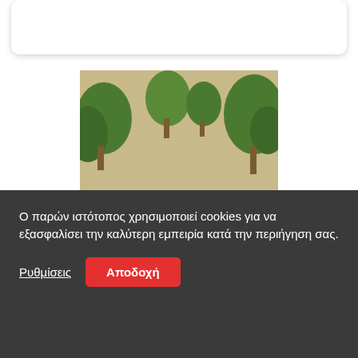[Figure (photo): A robotic device with a camera/sensor mounted on a platform with solar panels and an orange cable reel, placed in a dry agricultural field with olive or fruit trees in the background.]
Ο παρών ιστότοπος χρησιμοποιεί cookies για να εξασφαλίσει την καλύτερη εμπειρία κατά την περιήγηση σας.
Ρυθμίσεις
Αποδοχή